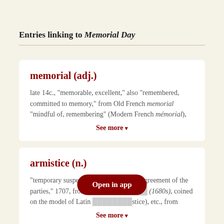Entries linking to Memorial Day
memorial (adj.)
late 14c., "memorable, excellent," also "remembered, committed to memory," from Old French memorial "mindful of, remembering" (Modern French mémorial),
See more ▾
armistice (n.)
"temporary suspension of hostilities by agreement of the parties," 1707, from [obscured] (1680s), coined on the model of Latin [obscured]stice), etc., from
See more ▾